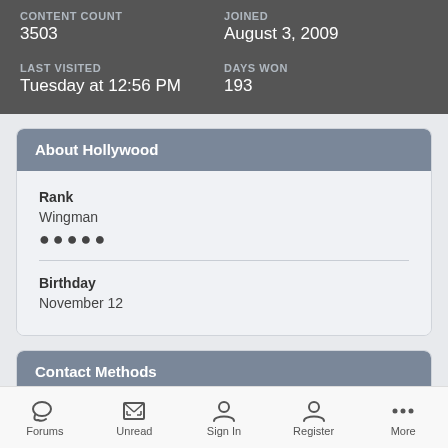CONTENT COUNT
3503
JOINED
August 3, 2009
LAST VISITED
Tuesday at 12:56 PM
DAYS WON
193
About Hollywood
Rank
Wingman
●●●●●
Birthday
November 12
Contact Methods
Forums   Unread   Sign In   Register   More